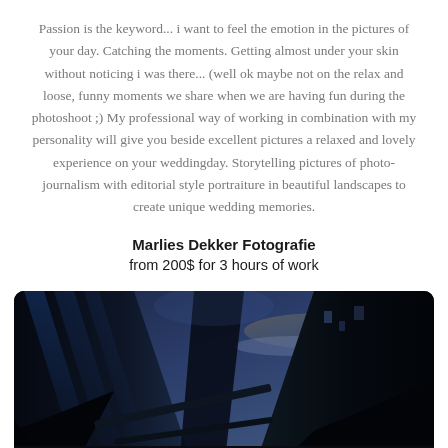Passion is the keyword... i want to feel the emotion in the pictures of your day. Catching the moments. Getting almost under your skin without noticing i was there... (well ok maybe not on the relax and loose, funny moments we share when we are having fun during the photoshoot ;) My professional way of working in combination with my personality will give you beside excellent pictures a relaxed and lovely experience on your weddingday. Storytelling pictures of photo-journalism with editorial style portraiture in beautiful landscapes to create unique wedding memories.
Marlies Dekker Fotografie
from 200$ for 3 hours of work
[Figure (photo): Dark urban/city photo shot from a low angle looking up between tall buildings, with dramatic sky and blue tones, dark moody atmosphere.]